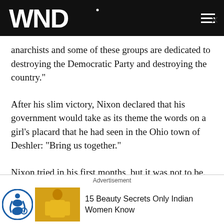WND
anarchists and some of these groups are dedicated to destroying the Democratic Party and destroying the country."
After his slim victory, Nixon declared that his government would take as its theme the words on a girl's placard that he had seen in the Ohio town of Deshler: "Bring us together."
Nixon tried in his first months, but it was not to be.
According to Bryan Burrough, author of "Days of Rage
Advertisement
15 Beauty Secrets Only Indian Women Know